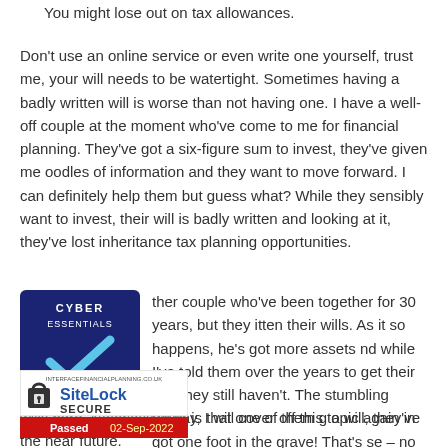You might lose out on tax allowances.
Don't use an online service or even write one yourself, trust me, your will needs to be watertight. Sometimes having a badly written will is worse than not having one. I have a well-off couple at the moment who've come to me for financial planning. They've got a six-figure sum to invest, they've given me oodles of information and they want to move forward. I can definitely help them but guess what? While they sensibly want to invest, their will is badly written and looking at it, they've lost inheritance tax planning opportunities.
[Figure (logo): Cyber Essentials badge with blue background and checkmark]
ther couple who've been together for 30 years, but they itten their wills. As it so happens, he's got more assets nd while I've told them over the years to get their wills hey still haven't. The stumbling block is that one of them g a will, they've got one foot in the grave! That's se – no one knows what's going to happen from t. For more on this topic, check out my blog on wills here. Needless to say, I will cover off this topic again in the near future.
[Figure (logo): SiteLock SECURE badge — Passed 02-Sep-2022]